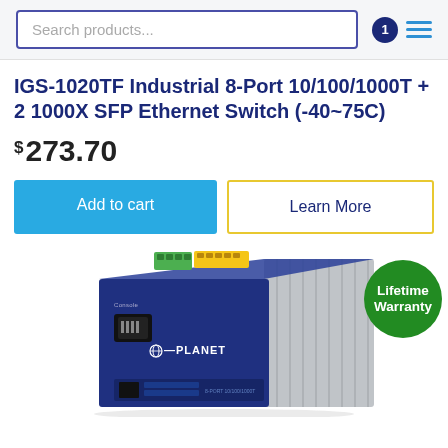Search products...
IGS-1020TF Industrial 8-Port 10/100/1000T + 2 1000X SFP Ethernet Switch (-40~75C)
$273.70
Add to cart
Learn More
[Figure (photo): Industrial Ethernet switch device (PLANET IGS-1020TF) with blue/grey metal enclosure, green and yellow terminal connectors on top, Ethernet port visible, with a 'Lifetime Warranty' green circular badge overlay]